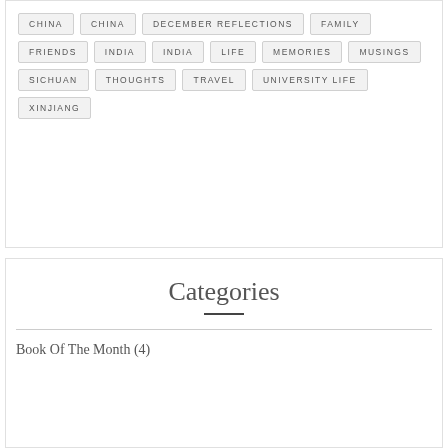CHINA
CHINA
DECEMBER REFLECTIONS
FAMILY
FRIENDS
INDIA
INDIA
LIFE
MEMORIES
MUSINGS
SICHUAN
THOUGHTS
TRAVEL
UNIVERSITY LIFE
XINJIANG
Categories
Book Of The Month (4)